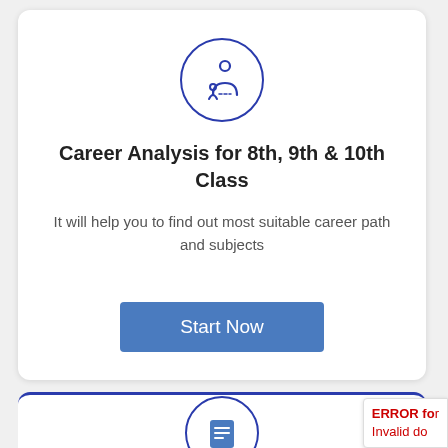[Figure (illustration): A circular icon with dark blue border showing a person with a location/path symbol, representing career guidance]
Career Analysis for 8th, 9th & 10th Class
It will help you to find out most suitable career path and subjects
[Figure (illustration): A blue button labeled Start Now]
[Figure (illustration): Partial second card with a circular icon showing a document/book symbol, partially visible at bottom. Also shows an error badge: ERROR fo... Invalid do...]